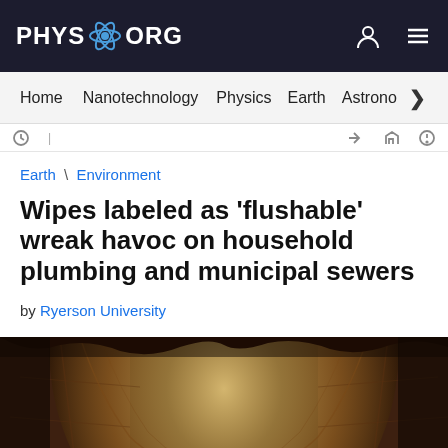PHYS.ORG
Home | Nanotechnology | Physics | Earth | Astronomy >
Earth \ Environment
Wipes labeled as 'flushable' wreak havoc on household plumbing and municipal sewers
by Ryerson University
[Figure (photo): Interior view of an old brick sewer tunnel with rough stone walls curving into darkness, with a light source visible at the far end.]